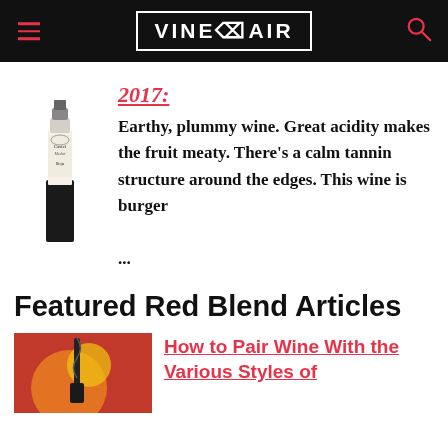VINEPAIR
[Figure (photo): Wine bottle photo - red wine bottle with label]
2017:
Earthy, plummy wine. Great acidity makes the fruit meaty. There's a calm tannin structure around the edges. This wine is burger ...
Featured Red Blend Articles
[Figure (illustration): Decorative illustration with red background, wine bottle and circular shapes in orange and yellow]
How to Pair Wine With the Various Styles of